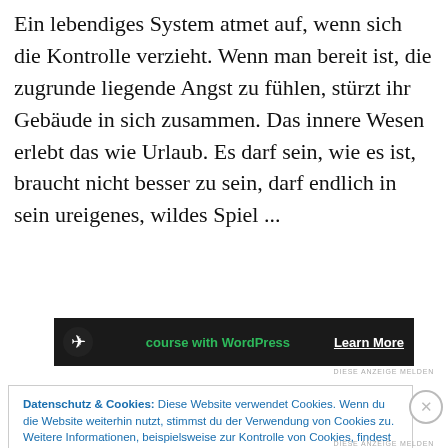Ein lebendiges System atmet auf, wenn sich die Kontrolle verzieht. Wenn man bereit ist, die zugrunde liegende Angst zu fühlen, stürzt ihr Gebäude in sich zusammen. Das innere Wesen erlebt das wie Urlaub. Es darf sein, wie es ist, braucht nicht besser zu sein, darf endlich in sein ureigenes, wildes Spiel ...
[Figure (other): Advertisement banner: dark background with WordPress logo icon, green text 'course with WordPress', white underlined 'Learn More' button]
Datenschutz & Cookies: Diese Website verwendet Cookies. Wenn du die Website weiterhin nutzt, stimmst du der Verwendung von Cookies zu.
Weitere Informationen, beispielsweise zur Kontrolle von Cookies, findest du hier: Cookie-Richtlinie
Schließen und Akzeptieren